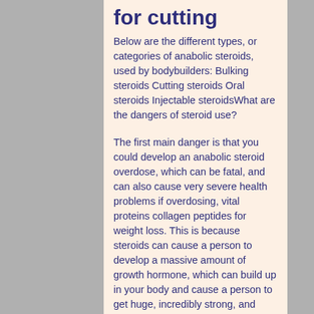for cutting
Below are the different types, or categories of anabolic steroids, used by bodybuilders: Bulking steroids Cutting steroids Oral steroids Injectable steroidsWhat are the dangers of steroid use?
The first main danger is that you could develop an anabolic steroid overdose, which can be fatal, and can also cause very severe health problems if overdosing, vital proteins collagen peptides for weight loss. This is because steroids can cause a person to develop a massive amount of growth hormone, which can build up in your body and cause a person to get huge, incredibly strong, and extremely tall. This growth hormone leads to an increased bodyweight, which is potentially lethal to